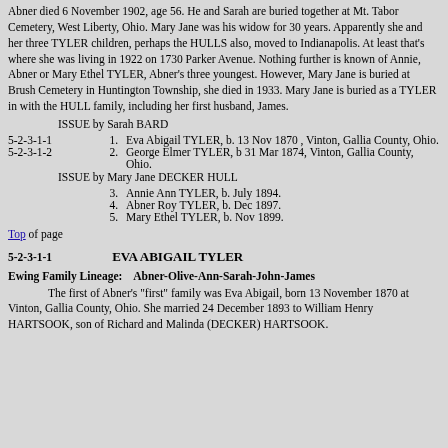Abner died 6 November 1902, age 56. He and Sarah are buried together at Mt. Tabor Cemetery, West Liberty, Ohio. Mary Jane was his widow for 30 years. Apparently she and her three TYLER children, perhaps the HULLS also, moved to Indianapolis. At least that's where she was living in 1922 on 1730 Parker Avenue. Nothing further is known of Annie, Abner or Mary Ethel TYLER, Abner's three youngest. However, Mary Jane is buried at Brush Cemetery in Huntington Township, she died in 1933. Mary Jane is buried as a TYLER in with the HULL family, including her first husband, James.
ISSUE by Sarah BARD
5-2-3-1-1   1.  Eva Abigail TYLER, b. 13 Nov 1870 , Vinton, Gallia County, Ohio.
5-2-3-1-2   2.  George Elmer TYLER, b 31 Mar 1874, Vinton, Gallia County, Ohio.
ISSUE by Mary Jane DECKER HULL
3.  Annie Ann TYLER, b. July 1894.
4.  Abner Roy TYLER, b. Dec 1897.
5.  Mary Ethel TYLER, b. Nov 1899.
Top of page
5-2-3-1-1        EVA ABIGAIL TYLER
Ewing Family Lineage:    Abner-Olive-Ann-Sarah-John-James
The first of Abner's "first" family was Eva Abigail, born 13 November 1870 at Vinton, Gallia County, Ohio. She married 24 December 1893 to William Henry HARTSOOK, son of Richard and Malinda (DECKER) HARTSOOK.